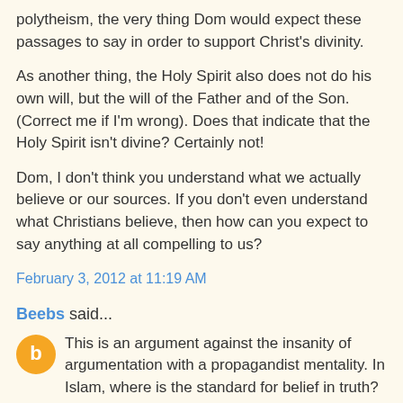polytheism, the very thing Dom would expect these passages to say in order to support Christ's divinity.
As another thing, the Holy Spirit also does not do his own will, but the will of the Father and of the Son. (Correct me if I'm wrong). Does that indicate that the Holy Spirit isn't divine? Certainly not!
Dom, I don't think you understand what we actually believe or our sources. If you don't even understand what Christians believe, then how can you expect to say anything at all compelling to us?
February 3, 2012 at 11:19 AM
Beebs said...
This is an argument against the insanity of argumentation with a propagandist mentality. In Islam, where is the standard for belief in truth? I don't see that there is one. Does one have to "believe" anything prior to their submission? No. They do not have to accept Islam as the truth. Islam requires only one's submission. It requires no recognition of the truth, for...